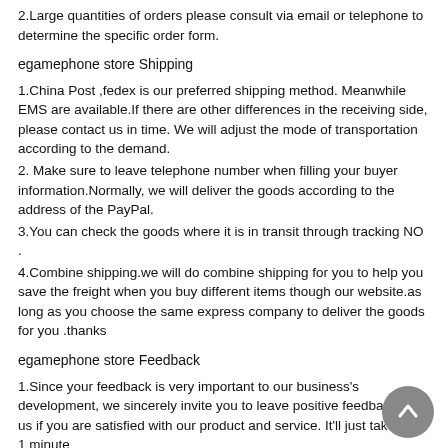2.Large quantities of orders please consult via email or telephone to determine the specific order form.
egamephone store Shipping
1.China Post ,fedex is our preferred shipping method. Meanwhile EMS are available.If there are other differences in the receiving side, please contact us in time. We will adjust the mode of transportation according to the demand.
2. Make sure to leave telephone number when filling your buyer information.Normally, we will deliver the goods according to the address of the PayPal.
3.You can check the goods where it is in transit through tracking NO .
4.Combine shipping.we will do combine shipping for you to help you save the freight when you buy different items though our website.as long as you choose the same express company to deliver the goods for you .thanks
egamephone store Feedback
1.Since your feedback is very important to our business's development, we sincerely invite you to leave positive feedback for us if you are satisfied with our product and service. It'll just take you 1 minute